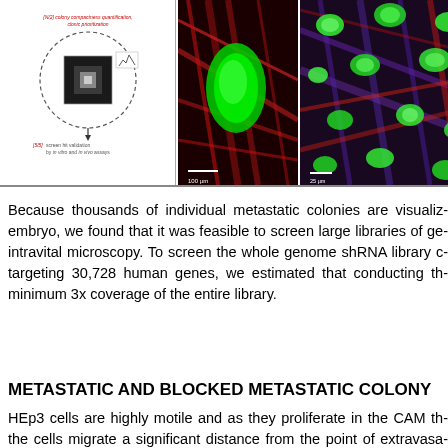[Figure (illustration): Scientific figure showing colony compactness quantification and fluorescence microscopy images of metastatic colonies. Left panel: schematic workflow diagram with text labels including 'colony compactness quantification, clonic prioritization' and 'screen hit validation by in vitro and in vivo assays'. Middle panel: fluorescence microscopy image showing green cell on red background (100 µm scale bar). Right panel: fluorescence microscopy showing multiple green nuclei on blue/purple/red background (25 µm scale bar).]
Because thousands of individual metastatic colonies are visualized in the embryo, we found that it was feasible to screen large libraries of genes by intravital microscopy. To screen the whole genome shRNA library c... targeting 30,728 human genes, we estimated that conducting the... minimum 3x coverage of the entire library.
METASTATIC AND BLOCKED METASTATIC COLONY
HEp3 cells are highly motile and as they proliferate in the CAM the... the cells migrate a significant distance from the point of extravasati... the resulting colonies adopt a more compact morphology that was... highly motile HEp3 tumor cells. Since the ex ovo chick embryo CAM... cell colonies were readily e... surrounding tissue for f... high throughput sequencing... characterize the shRN... identified eleven unique shRNA-targeted genes (ACTB, ACTC1, A... KIAA0922, KIF3B, NR2F1, SRPK1, and TMEM229B) whose expre...